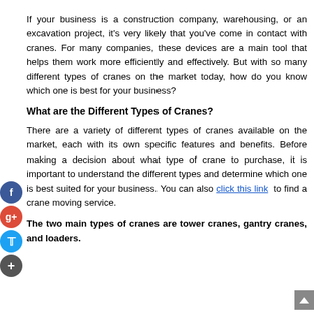If your business is a construction company, warehousing, or an excavation project, it's very likely that you've come in contact with cranes. For many companies, these devices are a main tool that helps them work more efficiently and effectively. But with so many different types of cranes on the market today, how do you know which one is best for your business?
What are the Different Types of Cranes?
There are a variety of different types of cranes available on the market, each with its own specific features and benefits. Before making a decision about what type of crane to purchase, it is important to understand the different types and determine which one is best suited for your business. You can also click this link to find a crane moving service.
The two main types of cranes are tower cranes, gantry cranes, and loaders.